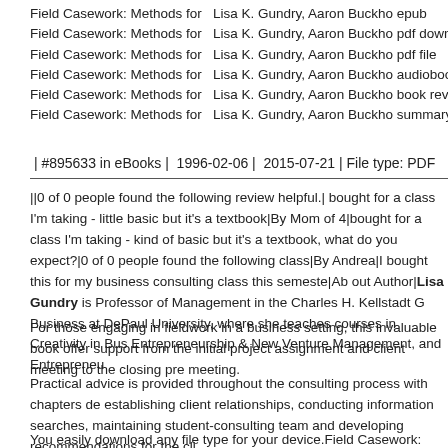Field Casework: Methods for  Lisa K. Gundry, Aaron Buckho epub
Field Casework: Methods for  Lisa K. Gundry, Aaron Buckho pdf download
Field Casework: Methods for  Lisa K. Gundry, Aaron Buckho pdf file
Field Casework: Methods for  Lisa K. Gundry, Aaron Buckho audiobook
Field Casework: Methods for  Lisa K. Gundry, Aaron Buckho book review
Field Casework: Methods for  Lisa K. Gundry, Aaron Buckho summary
| #895633 in eBooks |  1996-02-06 |  2015-07-21 | File type: PDF
||0 of 0 people found the following review helpful.| bought for a class I'm taking - little basic but it's a textbook|By Mom of 4|bought for a class I'm taking - kind of basic but it's a textbook, what do you expect?|0 of 0 people found the following class|By Andrea|I bought this for my business consulting class this semeste|About Author|Lisa Gundry is Professor of Management in the Charles H. Kellstadt Graduate School of Business at DePaul University, where she teaches courses in Creativity in Business, Entrepreneurship & New Venture Management, and Entreprenu
For those engaging in fieldwork in a business setting, this invaluable book offers support from the initial project assignment and client meeting to the closing presentation meeting.
Practical advice is provided throughout the consulting process with chapters devoted to establishing client relationships, conducting information searches, maintaining the student-consulting team and developing recommendations for the cli...
You easily download any file type for your device.Field Casework: Methods for